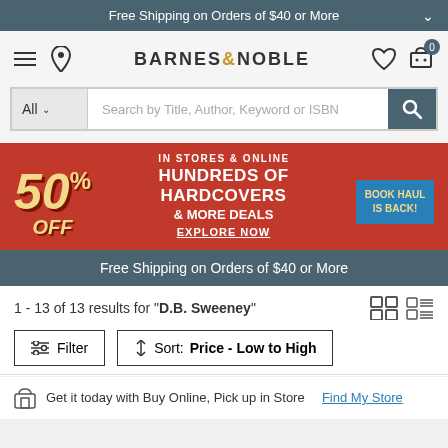Free Shipping on Orders of $40 or More
[Figure (logo): Barnes & Noble logo with hamburger menu, location pin, wishlist heart, and cart icons]
[Figure (screenshot): Search bar with All dropdown, search input placeholder 'Search by Title, Author, Keyword or ISBN', and search button]
[Figure (infographic): Promotional banner: IN STORES & ONLINE, 50% OFF, HUNDREDS OF HARDCOVERS & MORE DEALS, EXPLORE NOW, BOOK HAUL IS BACK!]
Free Shipping on Orders of $40 or More
1 - 13 of 13 results for "D.B. Sweeney"
Filter
Sort: Price - Low to High
Get it today with Buy Online, Pick up in Store   Find My Store